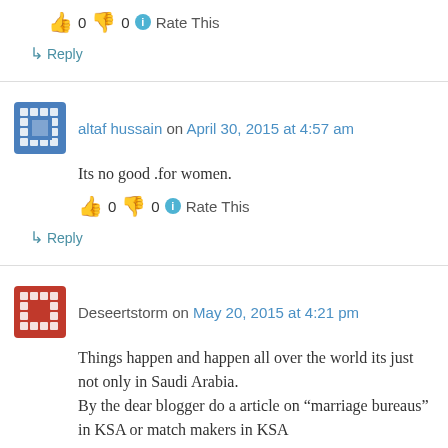👍 0 👎 0 ℹ Rate This
↳ Reply
altaf hussain on April 30, 2015 at 4:57 am
Its no good .for women.
👍 0 👎 0 ℹ Rate This
↳ Reply
Deseertstorm on May 20, 2015 at 4:21 pm
Things happen and happen all over the world its just not only in Saudi Arabia.
By the dear blogger do a article on "marriage bureaus" in KSA or match makers in KSA